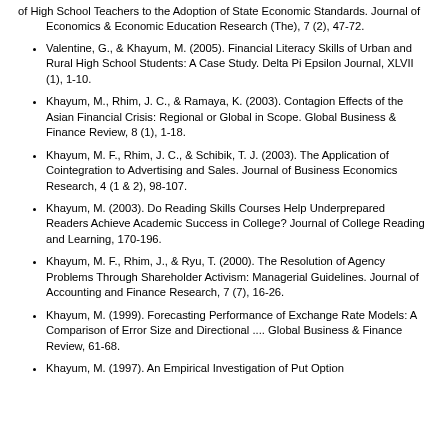(continuation) of High School Teachers to the Adoption of State Economic Standards. Journal of Economics & Economic Education Research (The), 7 (2), 47-72.
Valentine, G., & Khayum, M. (2005). Financial Literacy Skills of Urban and Rural High School Students: A Case Study. Delta Pi Epsilon Journal, XLVII (1), 1-10.
Khayum, M., Rhim, J. C., & Ramaya, K. (2003). Contagion Effects of the Asian Financial Crisis: Regional or Global in Scope. Global Business & Finance Review, 8 (1), 1-18.
Khayum, M. F., Rhim, J. C., & Schibik, T. J. (2003). The Application of Cointegration to Advertising and Sales. Journal of Business Economics Research, 4 (1 & 2), 98-107.
Khayum, M. (2003). Do Reading Skills Courses Help Underprepared Readers Achieve Academic Success in College? Journal of College Reading and Learning, 170-196.
Khayum, M. F., Rhim, J., & Ryu, T. (2000). The Resolution of Agency Problems Through Shareholder Activism: Managerial Guidelines. Journal of Accounting and Finance Research, 7 (7), 16-26.
Khayum, M. (1999). Forecasting Performance of Exchange Rate Models: A Comparison of Error Size and Directional .... Global Business & Finance Review, 61-68.
Khayum, M. (1997). An Empirical Investigation of Put Option (partial — continues)